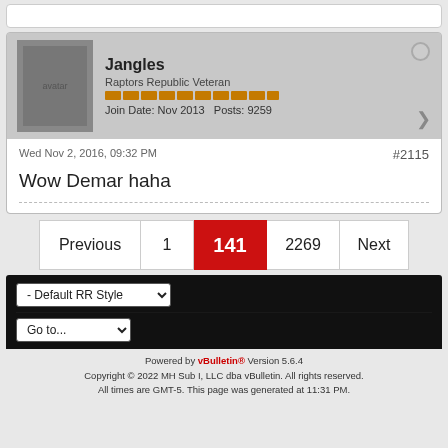Jangles
Raptors Republic Veteran
Join Date: Nov 2013   Posts: 9259
Wed Nov 2, 2016, 09:32 PM  #2115
Wow Demar haha
Previous 1 141 2269 Next
- Default RR Style
Go to...
Powered by vBulletin® Version 5.6.4
Copyright © 2022 MH Sub I, LLC dba vBulletin. All rights reserved.
All times are GMT-5. This page was generated at 11:31 PM.